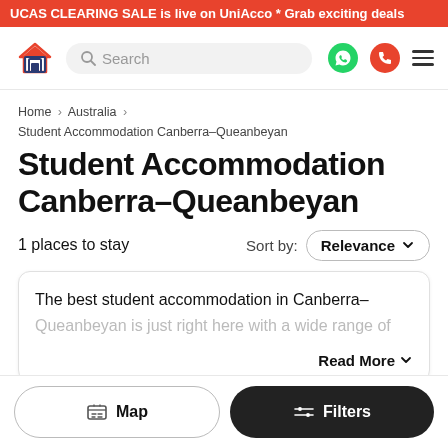UCAS CLEARING SALE is live on UniAcco * Grab exciting deals
[Figure (logo): UniAcco house logo and search bar with WhatsApp, phone, and hamburger menu icons]
Home > Australia > Student Accommodation Canberra–Queanbeyan
Student Accommodation Canberra–Queanbeyan
1 places to stay
Sort by: Relevance
The best student accommodation in Canberra–Queanbeyan is just right here with a wide range of
Read More